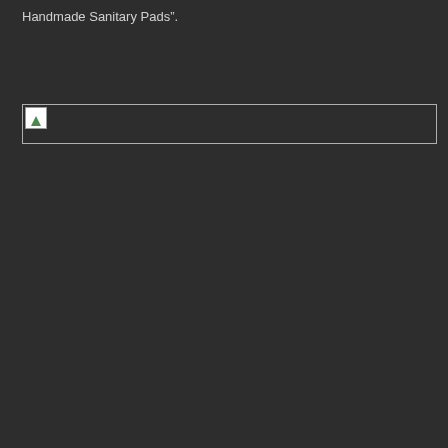Handmade Sanitary Pads".
[Figure (photo): Broken/unloaded image placeholder shown as a wide horizontal rectangle with a broken image icon in the top-left corner]